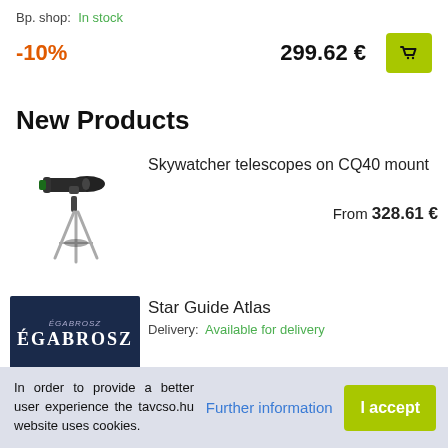Bp. shop: In stock
-10%   299.62 €
New Products
[Figure (photo): Skywatcher telescope on CQ40 mount, black refractor on silver tripod]
Skywatcher telescopes on CQ40 mount
From 328.61 €
[Figure (photo): Star Guide Atlas book cover with dark blue starfield background and ÉGABROSZ text]
Star Guide Atlas
Delivery: Available for delivery
In order to provide a better user experience the tavcso.hu website uses cookies.
Further information
I accept